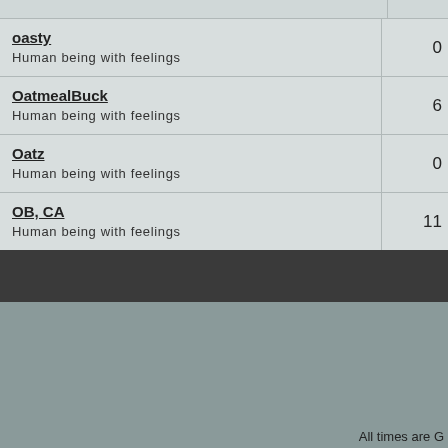| User | Count |
| --- | --- |
| oasty
Human being with feelings | 0 |
| OatmealBuck
Human being with feelings | 6 |
| Oatz
Human being with feelings | 0 |
| OB, CA
Human being with feelings | 11 |
All times are G
---- REAPER 5
Powered
Copyright ©20